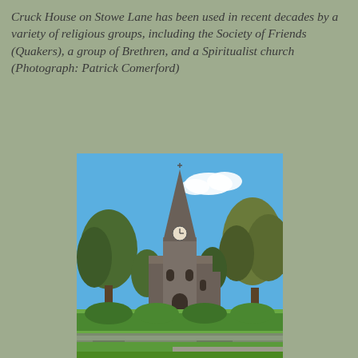Cruck House on Stowe Lane has been used in recent decades by a variety of religious groups, including the Society of Friends (Quakers), a group of Brethren, and a Spiritualist church (Photograph: Patrick Comerford)
[Figure (photo): Photograph of a stone church with a tall pointed spire and clock face, surrounded by neatly trimmed hedges and trees, taken on a sunny day with blue sky and white clouds.]